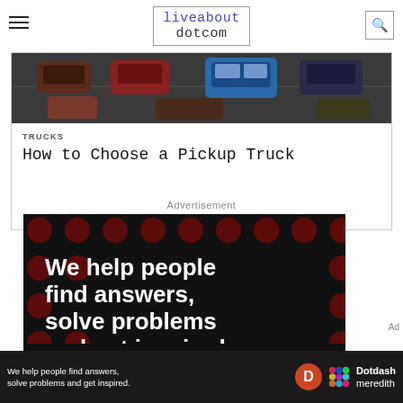liveabout dotcom
[Figure (photo): Aerial view of cars in traffic, including a blue SUV, red cars, and a dark truck on a road.]
TRUCKS
How to Choose a Pickup Truck
Advertisement
[Figure (illustration): Advertisement banner with black background and dark red polka dots. Bold white text reads: We help people find answers, solve problems and get inspired. Below is LEARN MORE in white with a red dot. Dotdash Meredith branding with colorful icon.]
[Figure (infographic): Sticky bottom ad bar: We help people find answers, solve problems and get inspired. Dotdash Meredith logo with D circle and dots icon.]